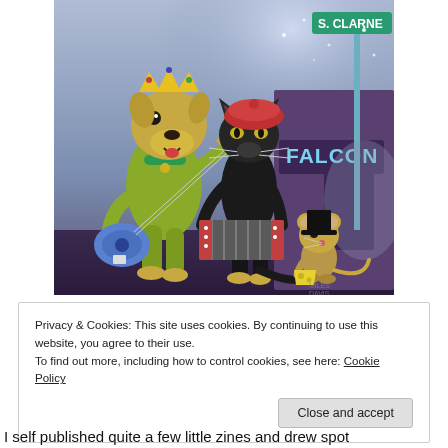[Figure (illustration): Cartoon illustration of animated animal musicians on a street at night. A green dog wearing a crown plays a blue electric guitar, a black cat in a red beret plays an accordion, and a small mouse in a top hat holds cheese. A street sign reads 'FALCON' and there is a pole with a sign in the background.]
Privacy & Cookies: This site uses cookies. By continuing to use this website, you agree to their use.
To find out more, including how to control cookies, see here: Cookie Policy
Close and accept
I self published quite a few little zines and drew spot